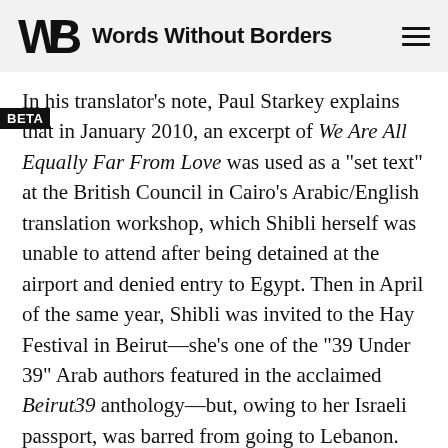Words Without Borders
In his translator’s note, Paul Starkey explains that in January 2010, an excerpt of We Are All Equally Far From Love was used as a “set text” at the British Council in Cairo’s Arabic/English translation workshop, which Shibli herself was unable to attend after being detained at the airport and denied entry to Egypt. Then in April of the same year, Shibli was invited to the Hay Festival in Beirut—she’s one of the “39 Under 39” Arab authors featured in the acclaimed Beirut39 anthology—but, owing to her Israeli passport, was barred from going to Lebanon.
Now in Berlin on a postdoctoral fellowship after